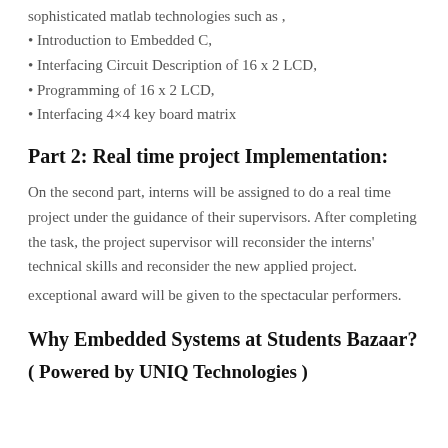sophisticated matlab technologies such as ,
• Introduction to Embedded C,
• Interfacing Circuit Description of 16 x 2 LCD,
• Programming of 16 x 2 LCD,
• Interfacing 4×4 key board matrix
Part 2: Real time project Implementation:
On the second part, interns will be assigned to do a real time project under the guidance of their supervisors. After completing the task, the project supervisor will reconsider the interns' technical skills and reconsider the new applied project.
exceptional award will be given to the spectacular performers.
Why Embedded Systems at Students Bazaar?
( Powered by UNIQ Technologies )